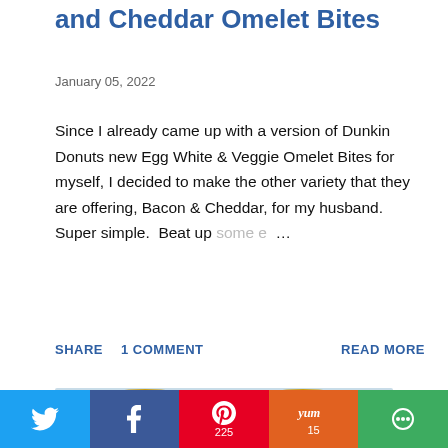and Cheddar Omelet Bites
January 05, 2022
Since I already came up with a version of Dunkin Donuts new Egg White & Veggie Omelet Bites for myself, I decided to make the other variety that they are offering, Bacon & Cheddar, for my husband. Super simple. Beat up some e ...
SHARE  1 COMMENT  READ MORE
[Figure (photo): Photo of omelet bites — egg-based dish with yellow/orange colors on a light blue background]
[Figure (infographic): Social sharing bar with Twitter, Facebook, Pinterest (225), Yummly (15), and another share button]